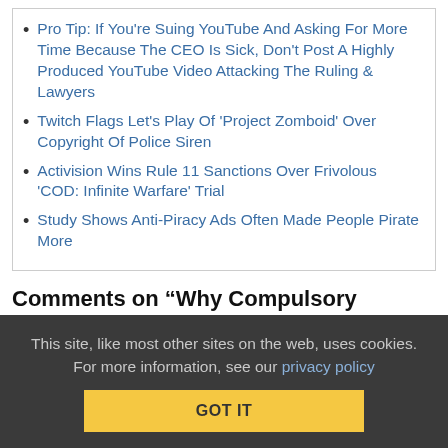Pro Tip: If You're Suing YouTube And Asking For More Time Because The CEO Is Sick, Don't Post A Highly Produced YouTube Video Attacking The Ruling & Lawyers
Twitch Flags Let's Play Of 'Project Zomboid' Over Copyright Of Police Siren
Activision Wins Rule 11 Sanctions Over Frivolous 'COD: Infinite Warfare' Trial
Study Shows Anti-Piracy Ads Often Made People Pirate More
Comments on “Why Compulsory Licenses Are Bad: A Look At The Sausage Making Process”
Subscribe: RSS
Leave a comment
This site, like most other sites on the web, uses cookies. For more information, see our privacy policy
GOT IT